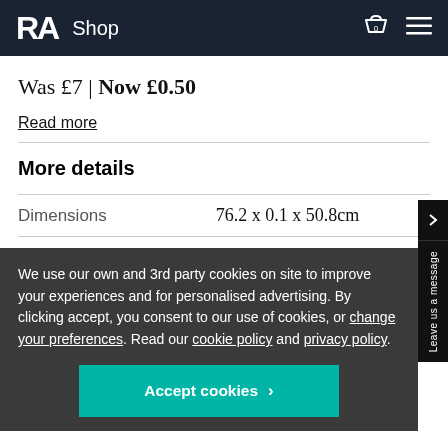RA Shop
Was £7 | Now £0.50
Read more
More details
|  |  |
| --- | --- |
| Dimensions | 76.2 x 0.1 x 50.8cm |
| Fabric & material | Paper |
We use our own and 3rd party cookies on site to improve your experiences and for personalised advertising. By clicking accept, you consent to our use of cookies, or change your preferences. Read our cookie policy and privacy policy.